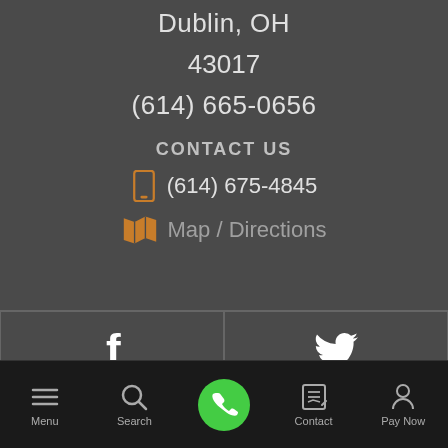Dublin, OH
43017
(614) 665-0656
CONTACT US
(614) 675-4845
Map / Directions
[Figure (screenshot): Social media links grid: Facebook (f), Twitter (bird icon), Google+ (g+), LinkedIn (in)]
Menu  Search  [Call]  Contact  Pay Now